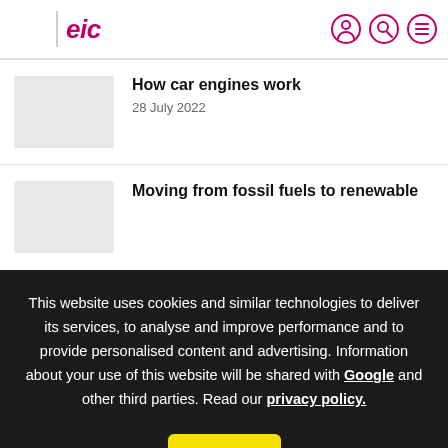eic logo header with user, search, and menu icons
How car engines work
28 July 2022
Moving from fossil fuels to renewable
This website uses cookies and similar technologies to deliver its services, to analyse and improve performance and to provide personalised content and advertising. Information about your use of this website will be shared with Google and other third parties. Read our privacy policy.